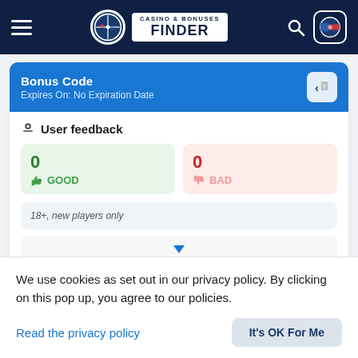Casino & Bonuses Finder
Bonus Code
Expires On: No Expiration Date
User feedback
0 GOOD
0 BAD
18+, new players only
Grand Vegas Casino Closed
We use cookies as set out in our privacy policy. By clicking on this pop up, you agree to our policies.
Read the privacy policy
It's OK For Me